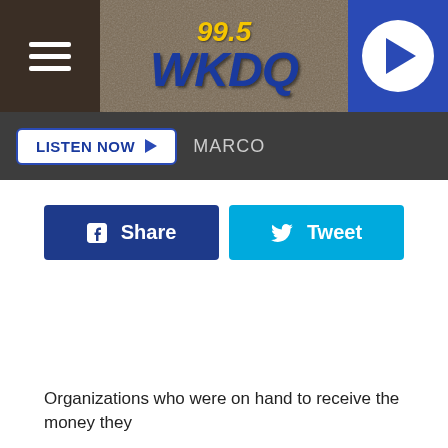99.5 WKDQ
LISTEN NOW ▶ MARCO
[Figure (screenshot): Facebook Share button (dark blue) and Twitter Tweet button (light blue)]
Organizations who were on hand to receive the money they